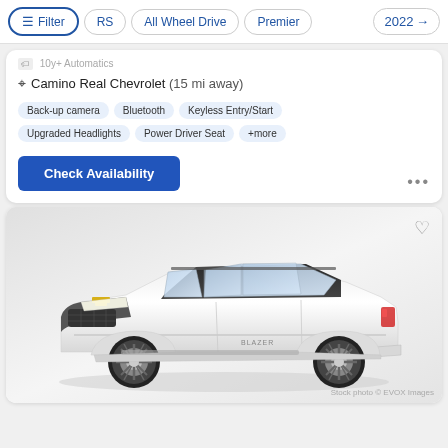Filter | RS | All Wheel Drive | Premier | 2022+
10y+ Automatics
Camino Real Chevrolet (15 mi away)
Back-up camera
Bluetooth
Keyless Entry/Start
Upgraded Headlights
Power Driver Seat
+more
Check Availability
[Figure (photo): White Chevrolet Blazer SUV front three-quarter view, stock photo from EVOX Images]